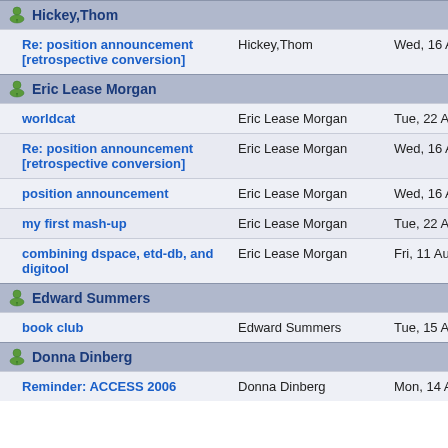| Subject | Author | Date |
| --- | --- | --- |
| Hickey,Thom |  |  |
| Re: position announcement [retrospective conversion] | Hickey,Thom | Wed, 16 Aug 2006 14:21:48 -04 |
| Eric Lease Morgan |  |  |
| worldcat | Eric Lease Morgan | Tue, 22 Aug 2006 16:23:40 -04 |
| Re: position announcement [retrospective conversion] | Eric Lease Morgan | Wed, 16 Aug 2006 11:50:06 -04 |
| position announcement | Eric Lease Morgan | Wed, 16 Aug 2006 11:46:49 -04 |
| my first mash-up | Eric Lease Morgan | Tue, 22 Aug 2006 22:42:06 -04 |
| combining dspace, etd-db, and digitool | Eric Lease Morgan | Fri, 11 Aug 2006 08:42:10 -040 |
| Edward Summers |  |  |
| book club | Edward Summers | Tue, 15 Aug 2006 14:46:00 -04 |
| Donna Dinberg |  |  |
| Reminder: ACCESS 2006 | Donna Dinberg | Mon, 14 Aug 2006 16:53:41 -04 |